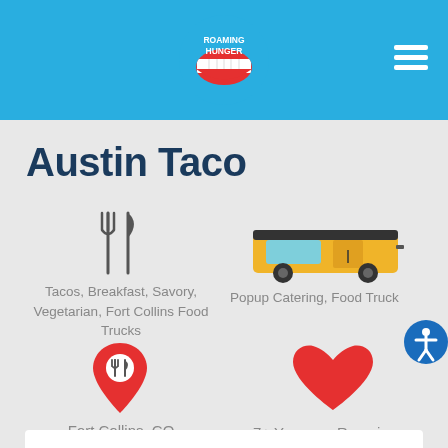[Figure (logo): Roaming Hunger logo — red lips with teeth, text ROAMING HUNGER in white, blue circle background]
[Figure (illustration): Hamburger menu icon — three white horizontal bars]
Austin Taco
[Figure (illustration): Fork and knife utensils icon in dark gray]
Tacos, Breakfast, Savory, Vegetarian, Fort Collins Food Trucks
[Figure (illustration): Yellow food truck illustration with teal window]
Popup Catering, Food Truck
[Figure (illustration): Red map pin with fork and knife icon inside]
Fort Collins, CO
[Figure (illustration): Red heart icon]
7+ Years on Roaming Hunger
[Figure (illustration): Blue circle accessibility icon with human figure]